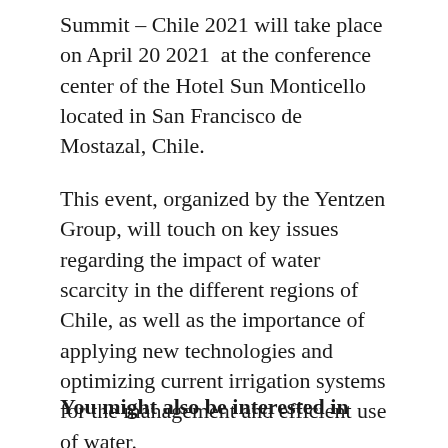Summit – Chile 2021 will take place on April 20 2021  at the conference center of the Hotel Sun Monticello located in San Francisco de Mostazal, Chile.
This event, organized by the Yentzen Group, will touch on key issues regarding the impact of water scarcity in the different regions of Chile, as well as the importance of applying new technologies and optimizing current irrigation systems for the management and efficient use of water.
You might also be interested in